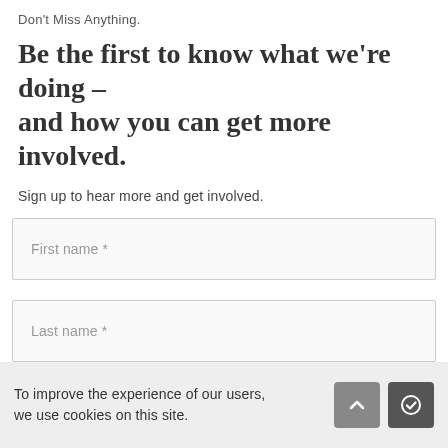Don't Miss Anything.
Be the first to know what we're doing – and how you can get more involved.
Sign up to hear more and get involved.
First name *
Last name *
Your email address *
To improve the experience of our users, we use cookies on this site.